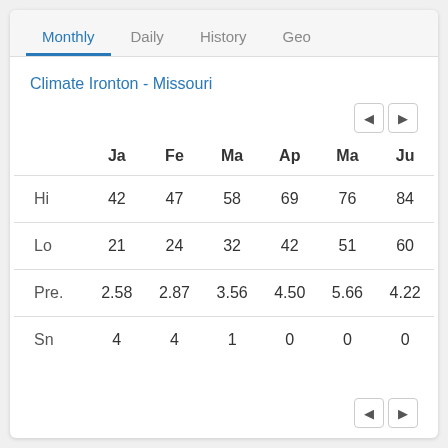Monthly | Daily | History | Geo
Climate Ironton - Missouri
|  | Ja | Fe | Ma | Ap | Ma | Ju |
| --- | --- | --- | --- | --- | --- | --- |
| Hi | 42 | 47 | 58 | 69 | 76 | 84 |
| Lo | 21 | 24 | 32 | 42 | 51 | 60 |
| Pre. | 2.58 | 2.87 | 3.56 | 4.50 | 5.66 | 4.22 |
| Sn | 4 | 4 | 1 | 0 | 0 | 0 |